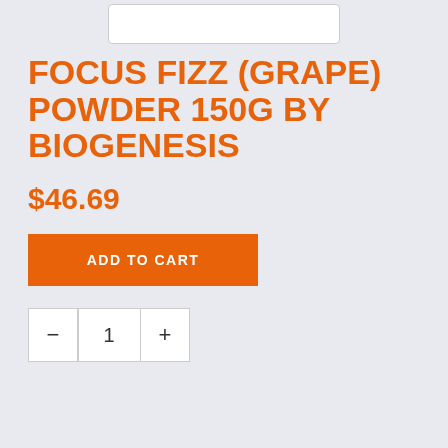[Figure (other): Product image placeholder — white rounded rectangle]
FOCUS FIZZ (GRAPE) POWDER 150G BY BIOGENESIS
$46.69
ADD TO CART
- 1 +